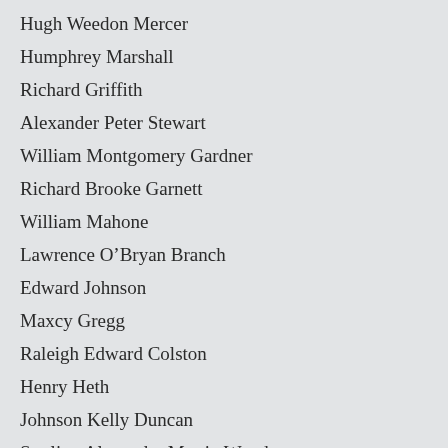Hugh Weedon Mercer
Humphrey Marshall
Richard Griffith
Alexander Peter Stewart
William Montgomery Gardner
Richard Brooke Garnett
William Mahone
Lawrence O’Bryan Branch
Edward Johnson
Maxcy Gregg
Raleigh Edward Colston
Henry Heth
Johnson Kelly Duncan
Sterling Alexander Martin Wood